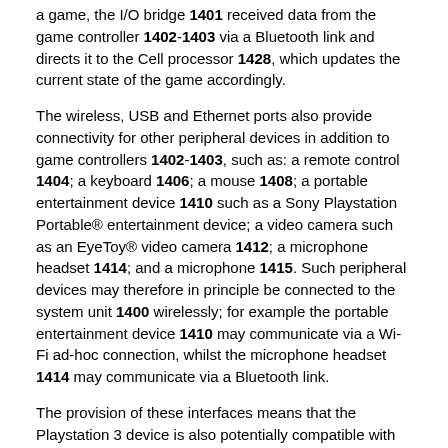a game, the I/O bridge 1401 received data from the game controller 1402-1403 via a Bluetooth link and directs it to the Cell processor 1428, which updates the current state of the game accordingly.
The wireless, USB and Ethernet ports also provide connectivity for other peripheral devices in addition to game controllers 1402-1403, such as: a remote control 1404; a keyboard 1406; a mouse 1408; a portable entertainment device 1410 such as a Sony Playstation Portable® entertainment device; a video camera such as an EyeToy® video camera 1412; a microphone headset 1414; and a microphone 1415. Such peripheral devices may therefore in principle be connected to the system unit 1400 wirelessly; for example the portable entertainment device 1410 may communicate via a Wi-Fi ad-hoc connection, whilst the microphone headset 1414 may communicate via a Bluetooth link.
The provision of these interfaces means that the Playstation 3 device is also potentially compatible with other peripheral devices such as digital video recorders (DVRs), set-top boxes, digital cameras, portable media players, Voice over IP telephones, mobile telephones,